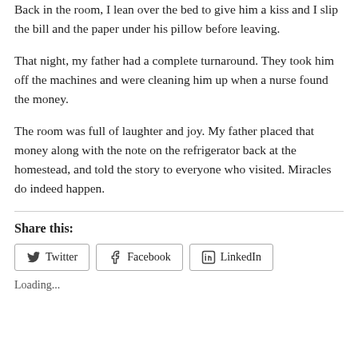Back in the room, I lean over the bed to give him a kiss and I slip the bill and the paper under his pillow before leaving.
That night, my father had a complete turnaround. They took him off the machines and were cleaning him up when a nurse found the money.
The room was full of laughter and joy. My father placed that money along with the note on the refrigerator back at the homestead, and told the story to everyone who visited. Miracles do indeed happen.
Share this:
Twitter  Facebook  LinkedIn
Loading...